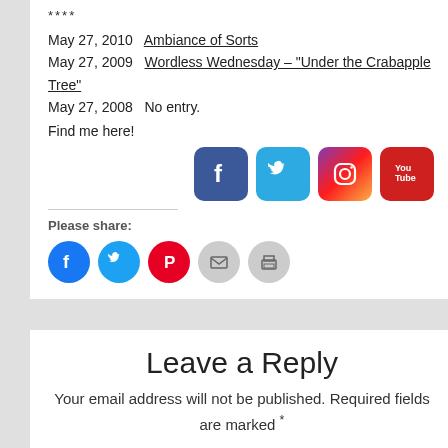****
May 27, 2010   Ambiance of Sorts
May 27, 2009   Wordless Wednesday – "Under the Crabapple Tree"
May 27, 2008   No entry.
Find me here!
[Figure (illustration): Four social media icons: Facebook (blue), Twitter (cyan), Instagram (gradient), YouTube (red)]
Please share:
[Figure (illustration): Five share icons: Facebook (blue circle), Twitter (blue circle), Pinterest (red circle), Email (gray circle), Print (gray circle)]
Leave a Reply
Your email address will not be published. Required fields are marked *